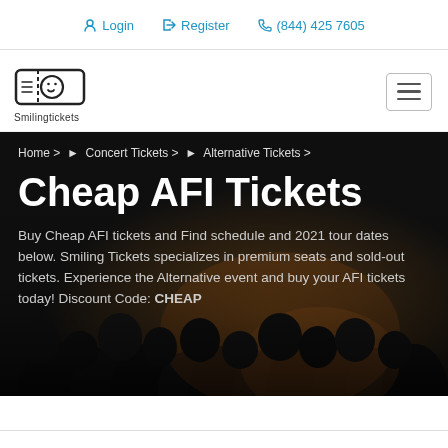Login  Register  (844) 425 7605
[Figure (logo): Smiling Tickets logo — a smiley face inside a ticket shape, with 'Smilingtickets' text below]
Cheap AFI Tickets
Home >  ▶  Concert Tickets >  ▶  Alternative Tickets >
Buy Cheap AFI tickets and Find schedule and 2021 tour dates below. Smiling Tickets specializes in premium seats and sold-out tickets. Experience the Alternative event and buy your AFI tickets today! Discount Code: CHEAP
Ashburn, VA
Filters